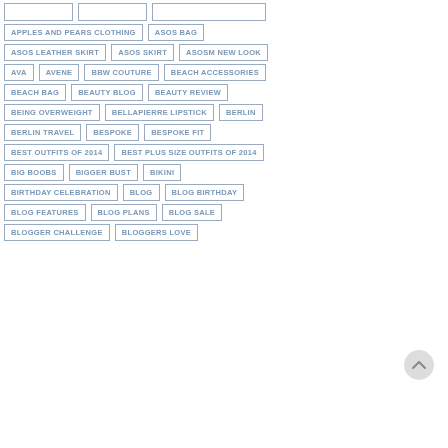APPLES AND PEARS CLOTHING
ASOS BAG
ASOS LEATHER SKIRT
ASOS SKIRT
ASOSM NEW LOOK
AVA
AVENE
BBW COUTURE
BEACH ACCESSORIES
BEACH BAG
BEAUTY BLOG
BEAUTY REVIEW
BEING OVERWEIGHT
BELLAPIERRE LIPSTICK
BERLIN
BERLIN TRAVEL
BESPOKE
BESPOKE FIT
BEST OUTFITS OF 2014
BEST PLUS SIZE OUTFITS OF 2014
BIG BOOBS
BIGGER BUST
BIKINI
BIRTHDAY CELEBRATION
BLOG
BLOG BIRTHDAY
BLOG FEATURES
BLOG PLANS
BLOG SALE
BLOGGER CHALLENGE
BLOGGERS LOVE